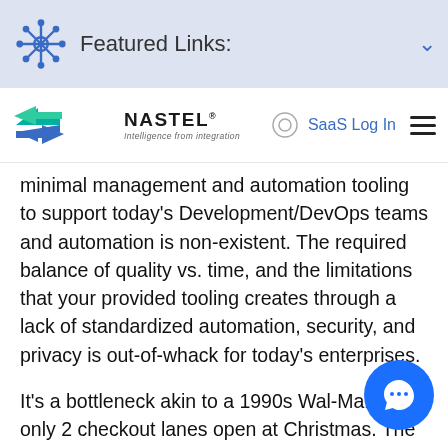Featured Links:
[Figure (logo): Nastel Technologies logo with arrow icon and tagline 'Intelligence from integration']
minimal management and automation tooling to support today's Development/DevOps teams and automation is non-existent. The required balance of quality vs. time, and the limitations that your provided tooling creates through a lack of standardized automation, security, and privacy is out-of-whack for today's enterprises.
It's a bottleneck akin to a 1990s Wal-Mart with only 2 checkout lanes open at Christmas. The business is losing forecasted revenue and everyone in the store is frustrated, including the hard-working professionals processing the transactions as fast as they can.
That just scratches the surface of the problem, but you get